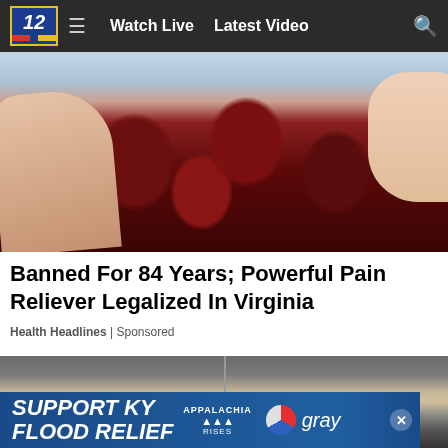Watch Live  Latest Video
[Figure (photo): Close-up photo of a hand holding several dark red sugar-coated gummy candies]
Banned For 84 Years; Powerful Pain Reliever Legalized In Virginia
Health Headlines | Sponsored
[Figure (photo): Photo of car hood/exterior showing debris and damage, split view]
[Figure (other): Support KY Flood Relief advertisement banner with Appalachia Rises and gray television network logo]